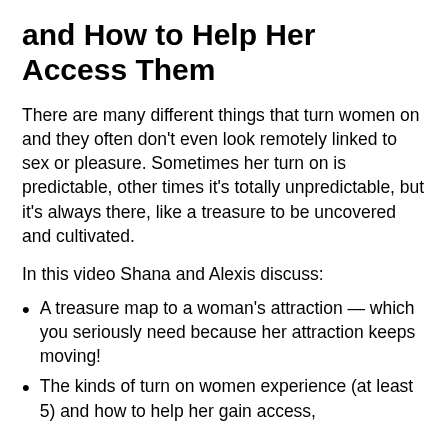and How to Help Her Access Them
There are many different things that turn women on and they often don't even look remotely linked to sex or pleasure. Sometimes her turn on is predictable, other times it's totally unpredictable, but it's always there, like a treasure to be uncovered and cultivated.
In this video Shana and Alexis discuss:
A treasure map to a woman's attraction — which you seriously need because her attraction keeps moving!
The kinds of turn on women experience (at least 5) and how to help her gain access,